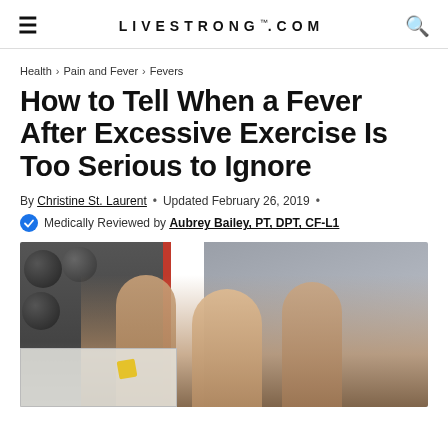LIVESTRONG.COM
Health > Pain and Fever > Fevers
How to Tell When a Fever After Excessive Exercise Is Too Serious to Ignore
By Christine St. Laurent · Updated February 26, 2019 ·
Medically Reviewed by Aubrey Bailey, PT, DPT, CF-L1
[Figure (photo): Three women smiling and laughing in a gym setting with weights and equipment visible in the background]